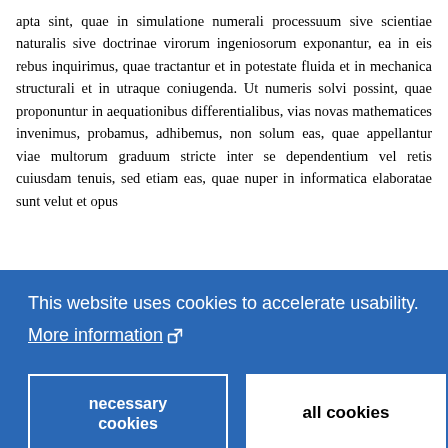apta sint, quae in simulatione numerali processuum sive scientiae naturalis sive doctrinae virorum ingeniosorum exponantur, ea in eis rebus inquirimus, quae tractantur et in potestate fluida et in mechanica structurali et in utraque coniugenda. Ut numeris solvi possint, quae proponuntur in aequationibus differentialibus, vias novas mathematices invenimus, probamus, adhibemus, non solum eas, quae appellantur viae multorum graduum stricte inter se dependentium vel retis cuiusdam tenuis, sed etiam eas, quae nuper in informatica elaboratae sunt velut et opus
[Figure (screenshot): Cookie consent overlay banner with blue background. Text reads: 'This website uses cookies to accelerate usability. More information [external link icon]'. Two buttons: 'necessary cookies' (outlined, blue background) and 'all cookies' (white background, black text).]
promising research frontiers in the 21st century will be